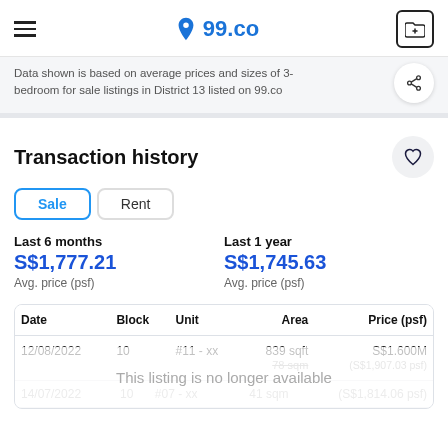99.co
Data shown is based on average prices and sizes of 3-bedroom for sale listings in District 13 listed on 99.co
Transaction history
Sale  Rent
Last 6 months
S$1,777.21
Avg. price (psf)
Last 1 year
S$1,745.63
Avg. price (psf)
| Date | Block | Unit | Area | Price (psf) |
| --- | --- | --- | --- | --- |
| 12/08/2022 | 10 | #11 - xx | 839 sqft
78 sqm | S$1.600M
(S$1,907.03 psf) |
| 14/07/2022 | 10 | #07 - xx | 41 sqm | (S$1,814.06 psf) |